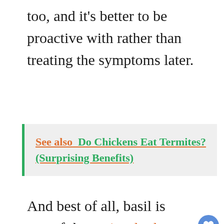too, and it's better to be proactive with rather than treating the symptoms later.
See also  Do Chickens Eat Termites? (Surprising Benefits)
And best of all, basil is one of the easiest herbs to grow. It's quick to germinate, flourishes in warm weather, and can just as easily be grown in a pot on a window sill or